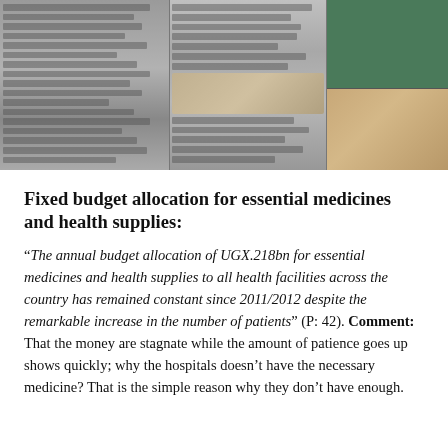[Figure (photo): Photograph of a newspaper page showing columns of text and embedded photos of people, appearing to be a medical or health-related news article.]
Fixed budget allocation for essential medicines and health supplies:
“The annual budget allocation of UGX.218bn for essential medicines and health supplies to all health facilities across the country has remained constant since 2011/2012 despite the remarkable increase in the number of patients” (P: 42). Comment: That the money are stagnate while the amount of patience goes up shows quickly; why the hospitals doesn’t have the necessary medicine? That is the simple reason why they don’t have enough.